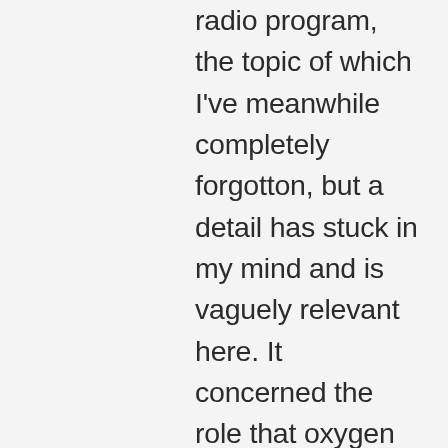radio program, the topic of which I've meanwhile completely forgotton, but a detail has stuck in my mind and is vaguely relevant here. It concerned the role that oxygen plays in the ageing process, in particular the involvment of reactive free-radicals in cell degeneration. The interviewee underlined the paradox that living organisms are reliant upon oxygen to live, but that ageing is nothing more than a symptom of long-term oxygen poisoning.